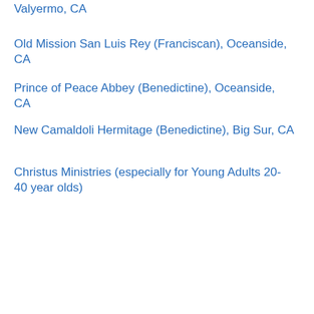Valyermo, CA
Old Mission San Luis Rey (Franciscan), Oceanside, CA
Prince of Peace Abbey (Benedictine), Oceanside, CA
New Camaldoli Hermitage (Benedictine), Big Sur, CA
Christus Ministries (especially for Young Adults 20-40 year olds)